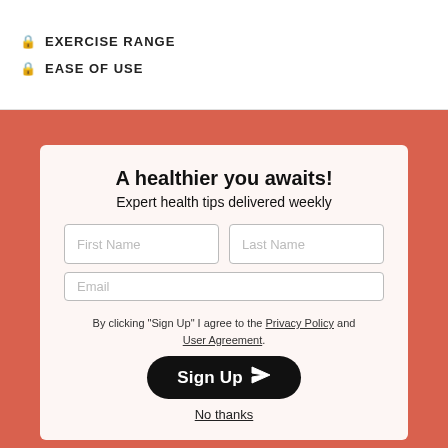🔒 EXERCISE RANGE
🔒 EASE OF USE
A healthier you awaits!
Expert health tips delivered weekly
First Name
Last Name
Email
By clicking "Sign Up" I agree to the Privacy Policy and User Agreement.
Sign Up
No thanks